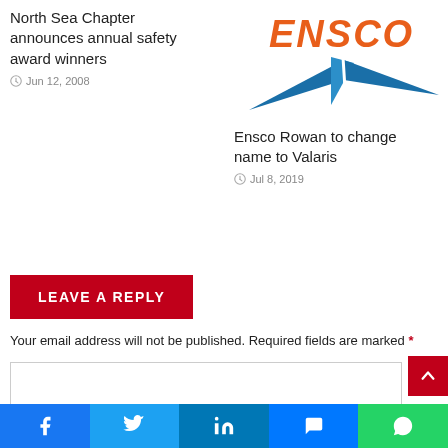North Sea Chapter announces annual safety award winners
Jun 12, 2008
[Figure (logo): ENSCO company logo with orange bold italic text and blue arrow/wing shape]
Ensco Rowan to change name to Valaris
Jul 8, 2019
LEAVE A REPLY
Your email address will not be published. Required fields are marked *